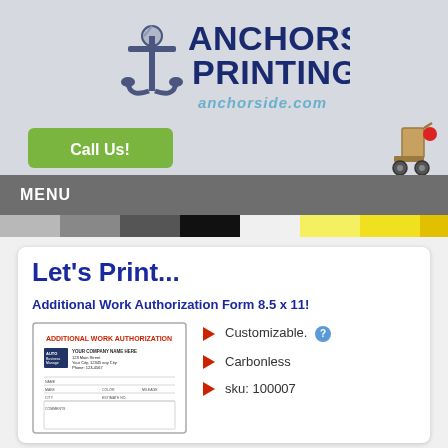[Figure (logo): Anchorside Printing logo with anchor graphic and text 'ANCHORSIDE PRINTING' and 'anchorside.com']
[Figure (other): Green 'Call Us!' button]
[Figure (other): Hand truck / delivery cart icon]
MENU
[Figure (other): Color swatches bar showing gray, dark gray, black, white/empty, yellow, and bright yellow]
Let's Print...
Additional Work Authorization Form 8.5 x 11!
[Figure (other): Thumbnail image of Additional Work Authorization form]
Customizable.
Carbonless
sku: 100007